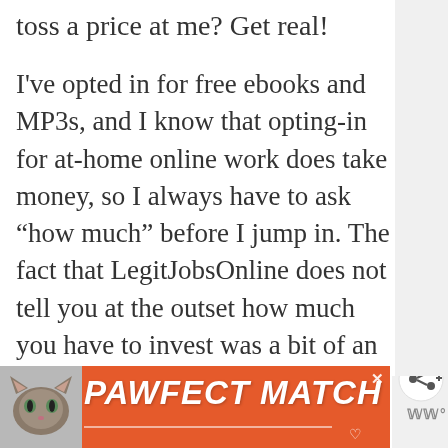toss a price at me? Get real!
I've opted in for free ebooks and MP3s, and I know that opting-in for at-home online work does take money, so I always have to ask “how much” before I jump in. The fact that LegitJobsOnline does not tell you at the outset how much you have to invest was a bit of an alarm bell, so I went looking for reviews. I have yet to read others, just for the heck of it, but your review resonated with my first instincts.
[Figure (illustration): Teal circular button with white heart icon (save/like button)]
[Figure (illustration): White circular button with share icon (arrows)]
[Figure (illustration): PAWFECT MATCH advertisement banner with orange background, cat photo, white italic bold text, close X button, heart outline, and WM logo]